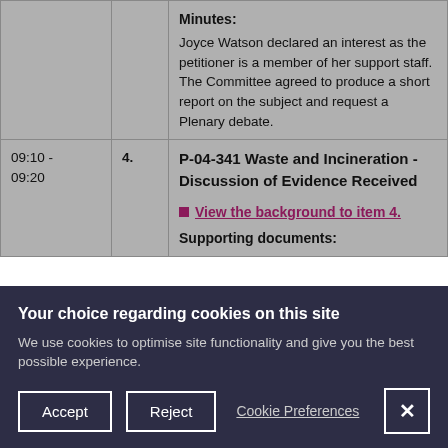| Time | No. | Content |
| --- | --- | --- |
|  |  | Minutes:
Joyce Watson declared an interest as the petitioner is a member of her support staff.
The Committee agreed to produce a short report on the subject and request a Plenary debate. |
| 09:10 - 09:20 | 4. | P-04-341 Waste and Incineration - Discussion of Evidence Received
■ View the background to item 4.
Supporting documents: |
Your choice regarding cookies on this site
We use cookies to optimise site functionality and give you the best possible experience.